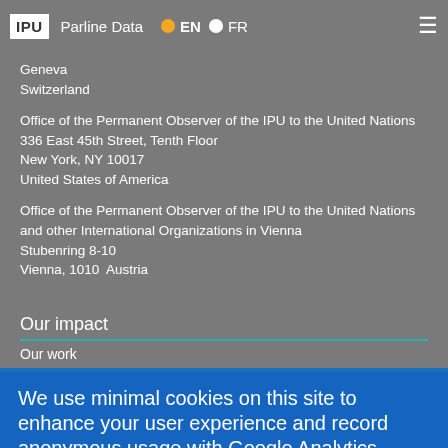IPU | Parline Data | EN | FR
Geneva
Switzerland
Office of the Permanent Observer of the IPU to the United Nations
336 East 45th Street, Tenth Floor
New York, NY 10017
United States of America
Office of the Permanent Observer of the IPU to the United Nations and other International Organizations in Vienna
Stubenring 8-10
Vienna, 1010  Austria
Our impact
Our work
We use minimal cookies on this site to enhance your user experience and record anonymous usage with Google Analytics
By continuing to use the site, you agree to us doing so. Clicking the